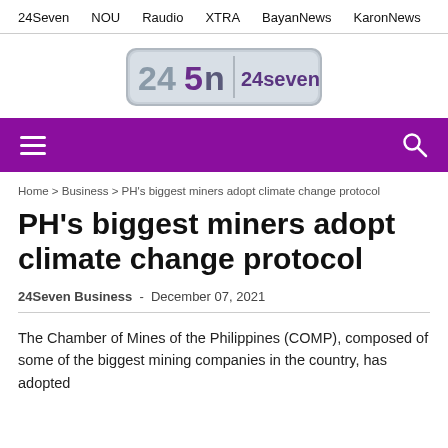24Seven   NOU   Raudio   XTRA   BayanNews   KaronNews
[Figure (logo): 24Seven news logo with stylized '2450' numeral and '24seven' wordmark on a gray rounded rectangle badge]
☰ (hamburger menu) and search icon on purple navigation bar
Home > Business > PH's biggest miners adopt climate change protocol
PH's biggest miners adopt climate change protocol
24Seven Business - December 07, 2021
The Chamber of Mines of the Philippines (COMP), composed of some of the biggest mining companies in the country, has adopted